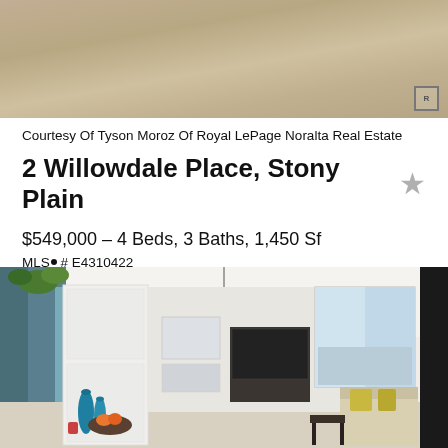[Figure (photo): Top portion of a property exterior or floor photo with beige/tan color, REALTOR MLS badge in bottom right corner]
Courtesy Of Tyson Moroz Of Royal LePage Noralta Real Estate
2 Willowdale Place, Stony Plain
$549,000 - 4 Beds, 3 Baths, 1,450 Sf
MLS® # E4310422
[Figure (photo): Interior living room photo showing white walls, pendant light fixture, dark TV cabinet, framed art, large windows with city view, colorful blue vases, fruit bowl, and living room furniture with yellow throw pillows]